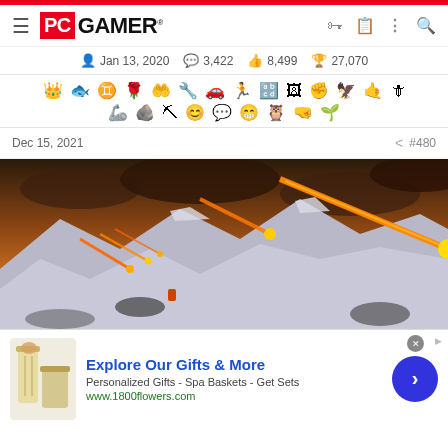[Figure (logo): PC Gamer logo with red background for PC and black GAMER text, hamburger menu icon on left, icons on right (key, clipboard, dots, search)]
Jan 13, 2020   3,422   8,499   27,070
[Figure (infographic): Two rows of achievement/badge icons in black]
Dec 15, 2021   #480
[Figure (photo): Game screenshot showing meteors/rockets streaking across a dramatic orange-clouded sky over a snowy mountainous landscape with a small figure near rocks]
[Figure (infographic): Advertisement banner: Explore Our Gifts & More - Personalized Gifts - Spa Baskets - Get Sets - www.1800flowers.com with floral gift product image on left and blue arrow button on right]